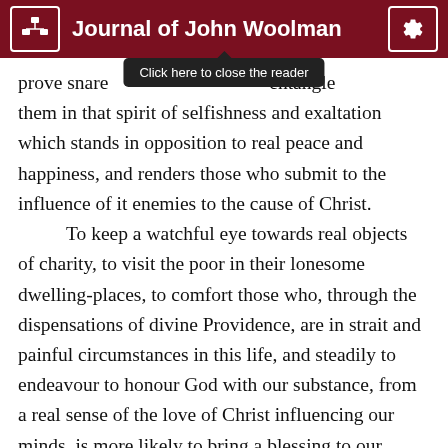Journal of John Woolman
[Figure (screenshot): Tooltip overlay reading 'Click here to close the reader' shown in dark background]
prove snare and entangle them in that spirit of selfishness and exaltation which stands in opposition to real peace and happiness, and renders those who submit to the influence of it enemies to the cause of Christ. To keep a watchful eye towards real objects of charity, to visit the poor in their lonesome dwelling-places, to comfort those who, through the dispensations of divine Providence, are in strait and painful circumstances in this life, and steadily to endeavour to honour God with our substance, from a real sense of the love of Christ influencing our minds, is more likely to bring a blessing to our